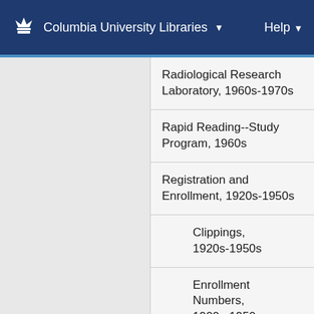Columbia University Libraries   Help
Radiological Research Laboratory, 1960s-1970s
Rapid Reading--Study Program, 1960s
Registration and Enrollment, 1920s-1950s
Clippings, 1920s-1950s
Enrollment Numbers, 1900s-1950s
Press Releases, 1940s-1950s
Reid Hall--University Residence and Educational Center in Paris, 1950s-200